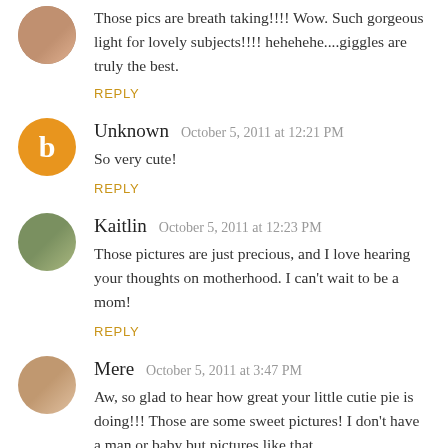Those pics are breath taking!!!! Wow. Such gorgeous light for lovely subjects!!!! hehehehe....giggles are truly the best.
REPLY
Unknown  October 5, 2011 at 12:21 PM
So very cute!
REPLY
Kaitlin  October 5, 2011 at 12:23 PM
Those pictures are just precious, and I love hearing your thoughts on motherhood. I can't wait to be a mom!
REPLY
Mere  October 5, 2011 at 3:47 PM
Aw, so glad to hear how great your little cutie pie is doing!!! Those are some sweet pictures! I don't have a man or baby but pictures like that